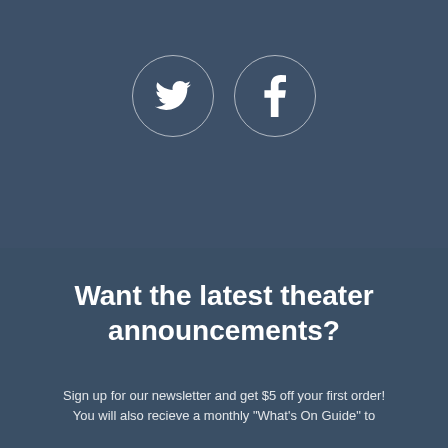[Figure (illustration): Two circular social media icons with white outlines on a dark blue-grey background: a Twitter bird icon on the left and a Facebook 'f' icon on the right.]
Want the latest theater announcements?
Sign up for our newsletter and get $5 off your first order!
You will also recieve a monthly "What's On Guide" to